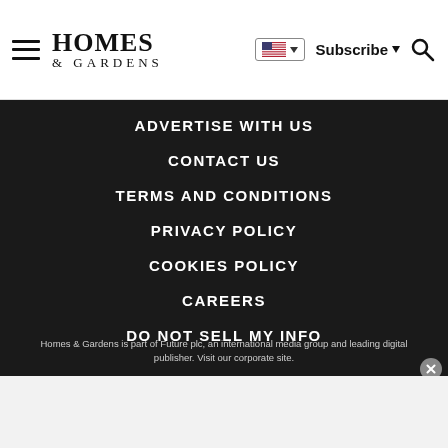Homes & Gardens — Subscribe — Search — Flag/Language selector
ADVERTISE WITH US
CONTACT US
TERMS AND CONDITIONS
PRIVACY POLICY
COOKIES POLICY
CAREERS
DO NOT SELL MY INFO
Homes & Gardens is part of Future plc, an international media group and leading digital publisher. Visit our corporate site.